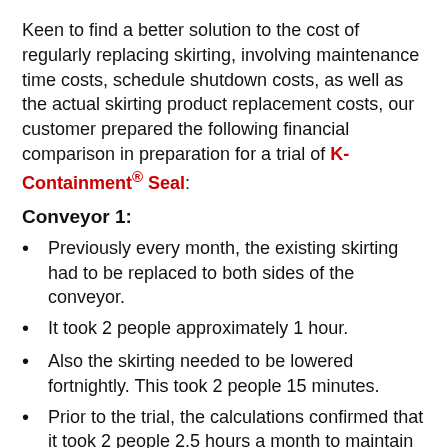Keen to find a better solution to the cost of regularly replacing skirting, involving maintenance time costs, schedule shutdown costs, as well as the actual skirting product replacement costs, our customer prepared the following financial comparison in preparation for a trial of K-Containment® Seal:
Conveyor 1:
Previously every month, the existing skirting had to be replaced to both sides of the conveyor.
It took 2 people approximately 1 hour.
Also the skirting needed to be lowered fortnightly. This took 2 people 15 minutes.
Prior to the trial, the calculations confirmed that it took 2 people 2.5 hours a month to maintain